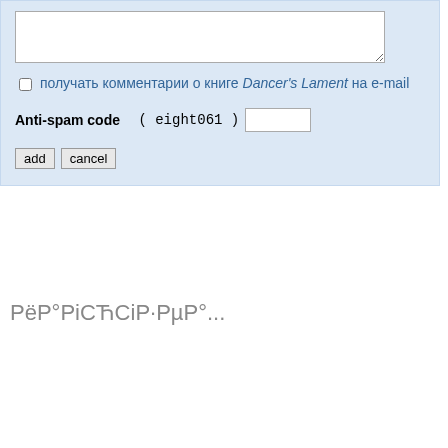[Figure (screenshot): A web form section with light blue background containing a textarea, a checkbox label in Russian with italic 'Dancer's Lament', an anti-spam code field with monospace text 'eight061', and add/cancel buttons.]
РёРРіСЋСіРРµР°...